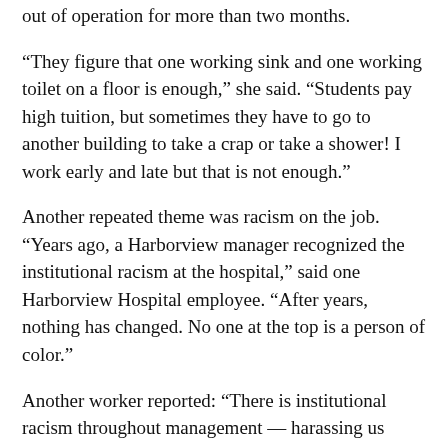out of operation for more than two months.
“They figure that one working sink and one working toilet on a floor is enough,” she said. “Students pay high tuition, but sometimes they have to go to another building to take a crap or take a shower! I work early and late but that is not enough.”
Another repeated theme was racism on the job. “Years ago, a Harborview manager recognized the institutional racism at the hospital,” said one Harborview Hospital employee. “After years, nothing has changed. No one at the top is a person of color.”
Another worker reported: “There is institutional racism throughout management — harassing us about race, culture and English skills.”
Nearly every worker said that they were devoted to their job, but tired of not receiving the level of support needed to do their work. “We are not